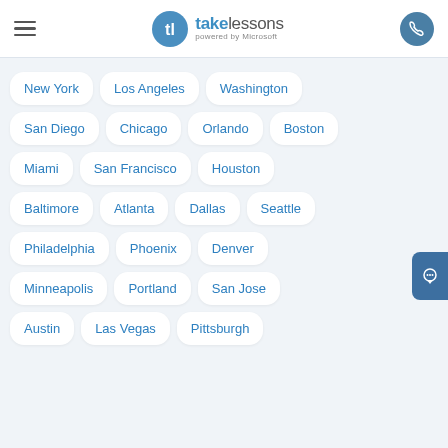takelessons powered by Microsoft
New York
Los Angeles
Washington
San Diego
Chicago
Orlando
Boston
Miami
San Francisco
Houston
Baltimore
Atlanta
Dallas
Seattle
Philadelphia
Phoenix
Denver
Minneapolis
Portland
San Jose
Austin
Las Vegas
Pittsburgh